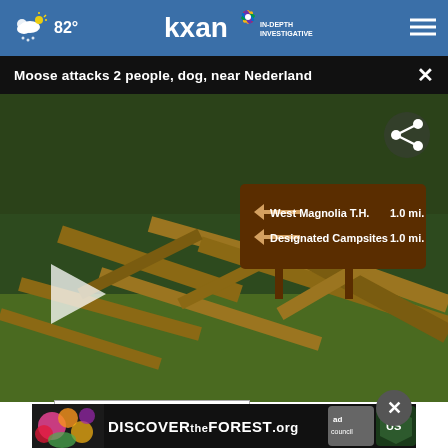82° kxan IN-DEPTH INVESTIGATIVE
Moose attacks 2 people, dog, near Nederland
[Figure (screenshot): Video thumbnail showing a rustic log fence in a forest setting with a brown trail sign reading 'West Magnolia T.H. 1.0 mi.' and 'Designated Campsites 1.0 mi.' with a play button overlay and share icon]
[Figure (photo): Advertisement banner: Discover the Forest .org with Ad Council and US Forest Service logos on dark background with colorful floral design]